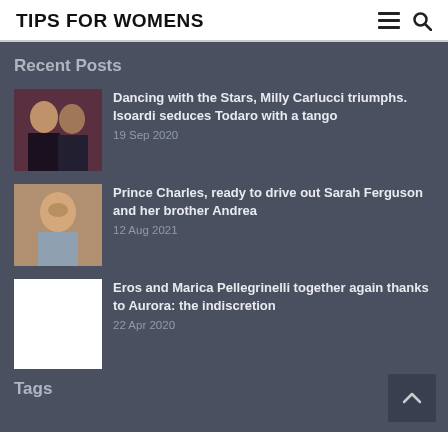TIPS FOR WOMENS
Recent Posts
Dancing with the Stars, Milly Carlucci triumphs. Isoardi seduces Todaro with a tango — 19 Sep 2020
Prince Charles, ready to drive out Sarah Ferguson and her brother Andrea — 12 Aug 2021
Eros and Marica Pellegrinelli together again thanks to Aurora: the indiscretion — 22 Apr 2020
Tags